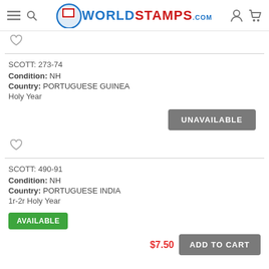WorldStamps.com
SCOTT: 273-74
Condition: NH
Country: PORTUGUESE GUINEA
Holy Year
UNAVAILABLE
SCOTT: 490-91
Condition: NH
Country: PORTUGUESE INDIA
1r-2r Holy Year
AVAILABLE
$7.50  ADD TO CART